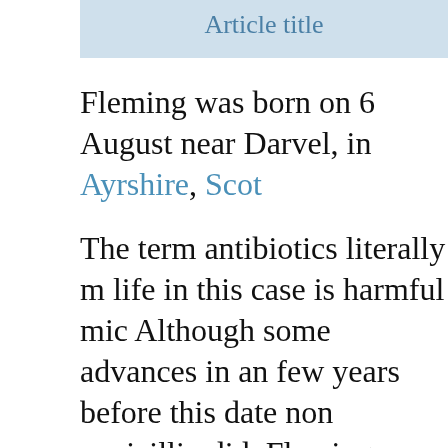Article title
Fleming was born on 6 August near Darvel, in Ayrshire, Scot
The term antibiotics literally m life in this case is harmful mic Although some advances in an few years before this date non penicillin did, Fleming started